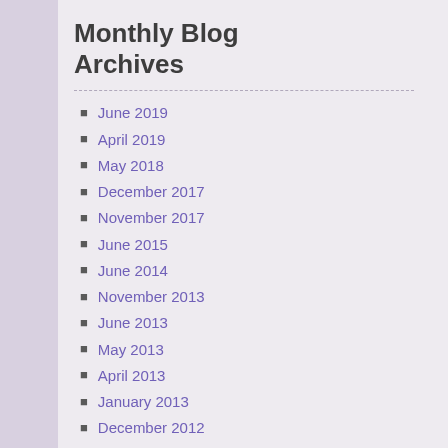Monthly Blog Archives
June 2019
April 2019
May 2018
December 2017
November 2017
June 2015
June 2014
November 2013
June 2013
May 2013
April 2013
January 2013
December 2012
August 2012
July 2012